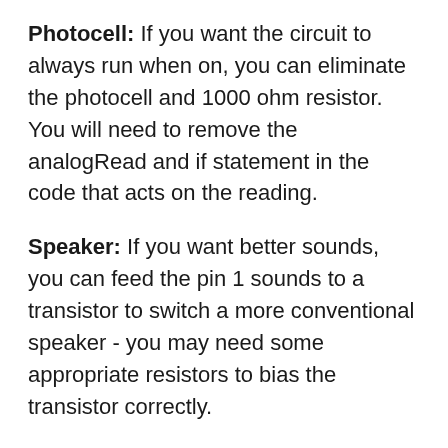Photocell: If you want the circuit to always run when on, you can eliminate the photocell and 1000 ohm resistor. You will need to remove the analogRead and if statement in the code that acts on the reading.
Speaker: If you want better sounds, you can feed the pin 1 sounds to a transistor to switch a more conventional speaker - you may need some appropriate resistors to bias the transistor correctly.
Servo: If you use a larger servo, you may need more battery capacity. If you do not need your Animal to move, you can eliminate the servo and the wire from Pin 0, power and ground. You could then trim the amount of Proto board used by